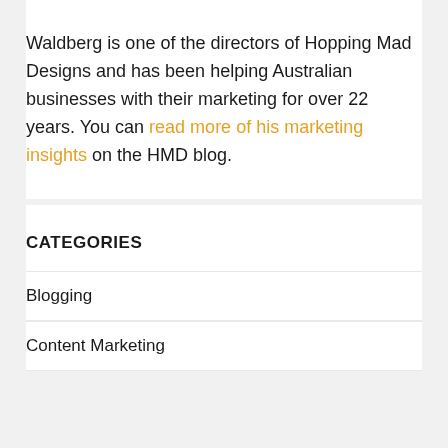Waldberg is one of the directors of Hopping Mad Designs and has been helping Australian businesses with their marketing for over 22 years. You can read more of his marketing insights on the HMD blog.
CATEGORIES
Blogging
Content Marketing